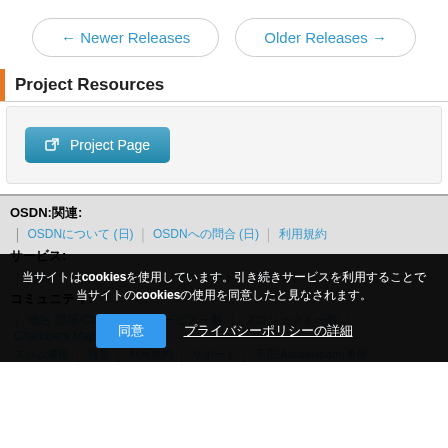← Newer Releases   Older Releases →
Project Resources
[Figure (other): Project Page button with external link icon]
OSDN:関連:
OSDNについて (日)  　OSDNへの問合 (日)  　利用規約
サービス:
登録  　ダウンロード  　ソースコード  　チケット
コミュニティ:
地区 部屋/Chamber  　サービス一覧  　プロジェクト一覧  　Chambers Map  　API
当サイトはcookiesを使用しています。引き続きサービスを利用することでcookiesの使用を同意したと見なされます。
同意  　プライバシーポリシーの詳細
スパム通報  　報告  　利用規約  　サポート  　不正(Abuse/spam)通報